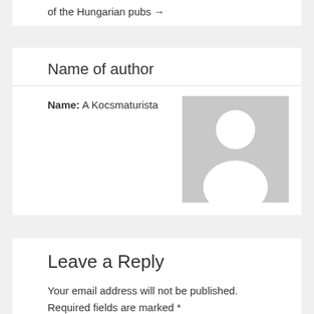of the Hungarian pubs →
Name of author
Name: A Kocsmaturista
[Figure (illustration): Default avatar placeholder image — gray background with white silhouette of a person (head circle and shoulders)]
Leave a Reply
Your email address will not be published. Required fields are marked *